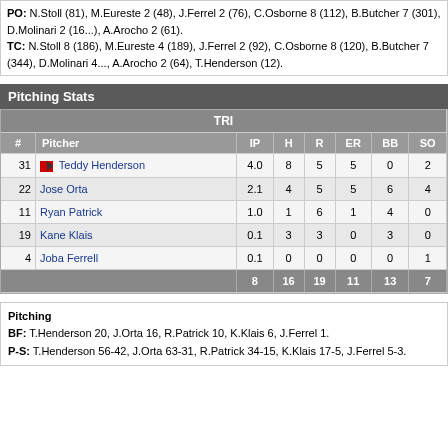PO: N.Stoll (81), M.Eureste 2 (48), J.Ferrel 2 (76), C.Osborne 8 (112), B.Butcher 7 (301), D.Molinari 2 (16...), A.Arocho 2 (61). TC: N.Stoll 8 (186), M.Eureste 4 (189), J.Ferrel 2 (92), C.Osborne 8 (120), B.Butcher 7 (344), D.Molinari 4..., A.Arocho 2 (64), T.Henderson (12).
Pitching Stats
| # | Pitcher | IP | H | R | ER | BB | SO |
| --- | --- | --- | --- | --- | --- | --- | --- |
| 31 | Teddy Henderson | 4.0 | 8 | 5 | 5 | 0 | 2 |
| 22 | Jose Orta | 2.1 | 4 | 5 | 5 | 6 | 4 |
| 11 | Ryan Patrick | 1.0 | 1 | 6 | 1 | 4 | 0 |
| 19 | Kane Klais | 0.1 | 3 | 3 | 0 | 3 | 0 |
| 4 | Joba Ferrell | 0.1 | 0 | 0 | 0 | 0 | 1 |
|  | Totals | 8 | 16 | 19 | 11 | 13 | 7 |
Pitching
BF: T.Henderson 20, J.Orta 16, R.Patrick 10, K.Klais 6, J.Ferrel 1.
P-S: T.Henderson 56-42, J.Orta 63-31, R.Patrick 34-15, K.Klais 17-5, J.Ferrel 5-3.